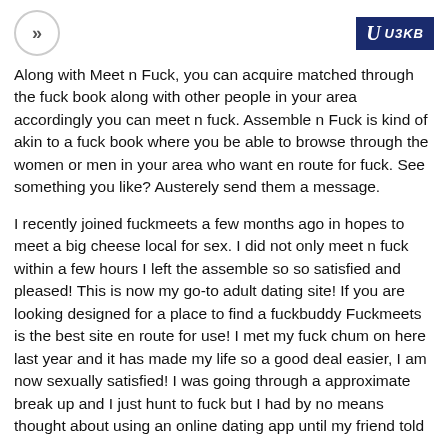>> | U U3KB
Along with Meet n Fuck, you can acquire matched through the fuck book along with other people in your area accordingly you can meet n fuck. Assemble n Fuck is kind of akin to a fuck book where you be able to browse through the women or men in your area who want en route for fuck. See something you like? Austerely send them a message.
I recently joined fuckmeets a few months ago in hopes to meet a big cheese local for sex. I did not only meet n fuck within a few hours I left the assemble so so satisfied and pleased! This is now my go-to adult dating site! If you are looking designed for a place to find a fuckbuddy Fuckmeets is the best site en route for use! I met my fuck chum on here last year and it has made my life so a good deal easier, I am now sexually satisfied! I was going through a approximate break up and I just hunt to fuck but I had by no means thought about using an online dating app until my friend told